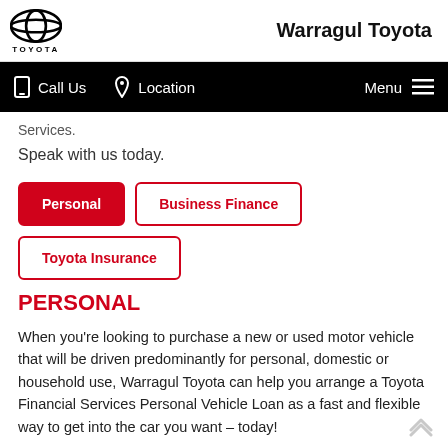Warragul Toyota
Services.
Speak with us today.
Personal | Business Finance | Toyota Insurance (tab buttons)
PERSONAL
When you're looking to purchase a new or used motor vehicle that will be driven predominantly for personal, domestic or household use, Warragul Toyota can help you arrange a Toyota Financial Services Personal Vehicle Loan as a fast and flexible way to get into the car you want – today!